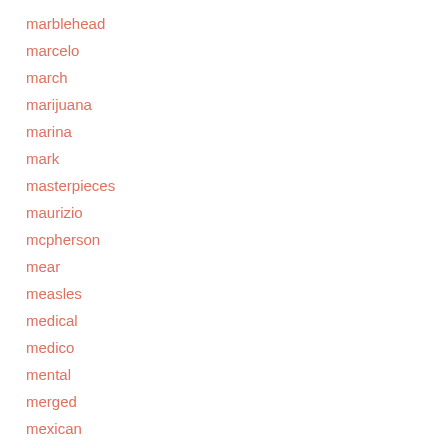marblehead
marcelo
march
marijuana
marina
mark
masterpieces
maurizio
mcpherson
mear
measles
medical
medico
mental
merged
mexican
mies